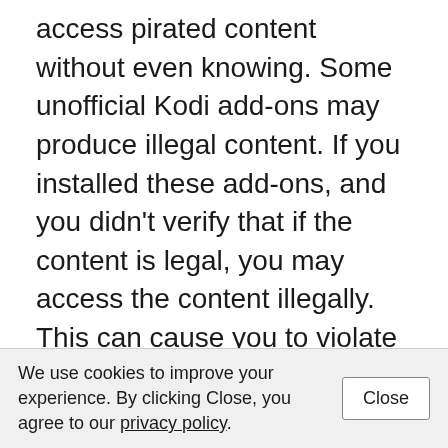access pirated content without even knowing. Some unofficial Kodi add-ons may produce illegal content. If you installed these add-ons, and you didn't verify that if the content is legal, you may access the content illegally. This can cause you to violate the law in your country. So I recommend you to do some research before you access the content that you don't know. If you're not confident in using the unofficial Kodi add-ons, you can choose to install the official Kodi add-ons instead, which provides the legal content.
We use cookies to improve your experience. By clicking Close, you agree to our privacy policy.